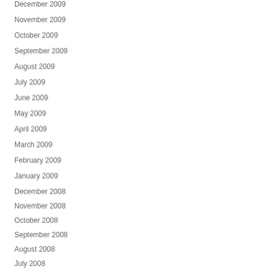December 2009
November 2009
October 2009
September 2009
August 2009
July 2009
June 2009
May 2009
April 2009
March 2009
February 2009
January 2009
December 2008
November 2008
October 2008
September 2008
August 2008
July 2008